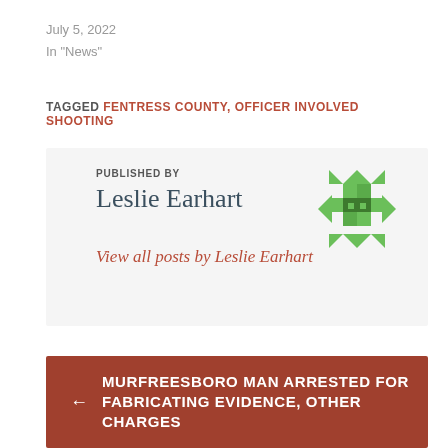July 5, 2022
In "News"
TAGGED FENTRESS COUNTY, OFFICER INVOLVED SHOOTING
PUBLISHED BY
Leslie Earhart
View all posts by Leslie Earhart
[Figure (illustration): Green pixel/mosaic pattern avatar icon for Leslie Earhart]
← MURFREESBORO MAN ARRESTED FOR FABRICATING EVIDENCE, OTHER CHARGES